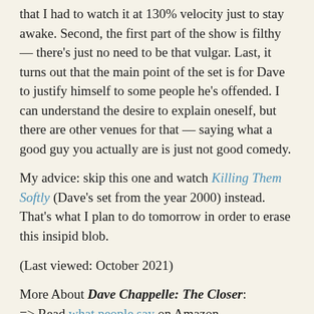that I had to watch it at 130% velocity just to stay awake. Second, the first part of the show is filthy — there's just no need to be that vulgar. Last, it turns out that the main point of the set is for Dave to justify himself to some people he's offended. I can understand the desire to explain oneself, but there are other venues for that — saying what a good guy you actually are is just not good comedy.
My advice: skip this one and watch Killing Them Softly (Dave's set from the year 2000) instead. That's what I plan to do tomorrow in order to erase this insipid blob.
(Last viewed: October 2021)
More About Dave Chappelle: The Closer: => Read what people say on Amazon => Add your own Review or Comments on laughDB's full page for Dave Chappelle: The Closer